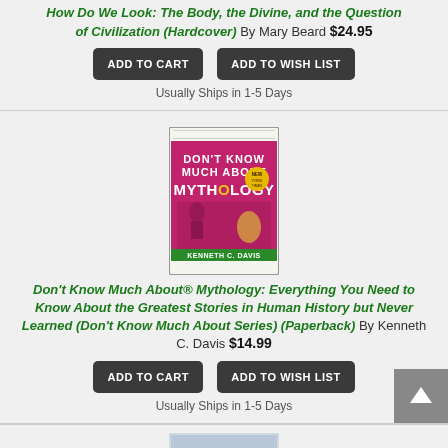How Do We Look: The Body, the Divine, and the Question of Civilization (Hardcover) By Mary Beard $24.95
ADD TO CART
ADD TO WISH LIST
Usually Ships in 1-5 Days
[Figure (photo): Book cover of 'Don't Know Much About Mythology' by Kenneth C. Davis, pink/magenta cover with illustrated figures]
Don't Know Much About® Mythology: Everything You Need to Know About the Greatest Stories in Human History but Never Learned (Don't Know Much About Series) (Paperback) By Kenneth C. Davis $14.99
ADD TO CART
ADD TO WISH LIST
Usually Ships in 1-5 Days